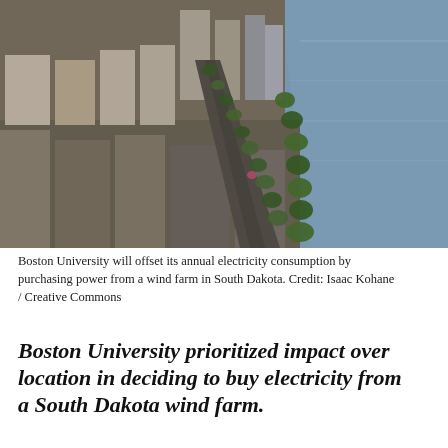[Figure (photo): Aerial drone photograph of Boston University campus and surrounding urban area along the Charles River. Shows dense city blocks with brick and modern buildings on the left, a tree-lined boulevard running diagonally, and the calm Charles River on the right side. Lush green trees visible along the riverbank.]
Boston University will offset its annual electricity consumption by purchasing power from a wind farm in South Dakota. Credit: Isaac Kohane / Creative Commons
Boston University prioritized impact over location in deciding to buy electricity from a South Dakota wind farm.